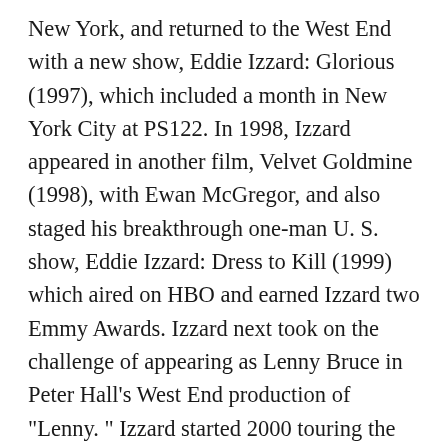New York, and returned to the West End with a new show, Eddie Izzard: Glorious (1997), which included a month in New York City at PS122. In 1998, Izzard appeared in another film, Velvet Goldmine (1998), with Ewan McGregor, and also staged his breakthrough one-man U. S. show, Eddie Izzard: Dress to Kill (1999) which aired on HBO and earned Izzard two Emmy Awards. Izzard next took on the challenge of appearing as Lenny Bruce in Peter Hall's West End production of "Lenny. " Izzard started 2000 touring the world with Eddie Izzard: Circle (2002) and continued to act in films, among them The Criminal (1999); Shadow of the Vampire (2000) with John Malkovich and Willem Dafoe; and Peter Bogdanovich's The Cat's Meow